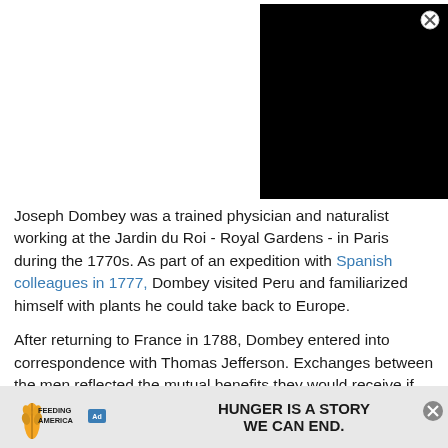[Figure (photo): Black rectangle representing a video or image placeholder with red bracket label '[]' in top right corner and an X close button]
Joseph Dombey was a trained physician and naturalist working at the Jardin du Roi - Royal Gardens - in Paris during the 1770s. As part of an expedition with Spanish colleagues in 1777, Dombey visited Peru and familiarized himself with plants he could take back to Europe.
After returning to France in 1788, Dombey entered into correspondence with Thomas Jefferson. Exchanges between the men reflected the mutual benefits they would receive if Dombey were to visit North America, with Dombey requesting to botanize for "for two to three years" while simultaneously bringing [metric measures]...
[Figure (infographic): Feeding America advertisement banner at bottom of page. Shows Feeding America logo on left with Ad Choice icon, and text 'HUNGER IS A STORY WE CAN END.' in bold black text on right.]